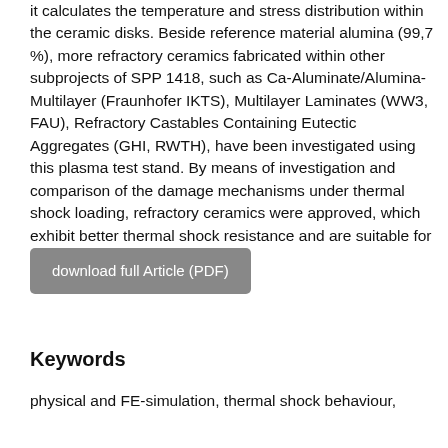it calculates the temperature and stress distribution within the ceramic disks. Beside reference material alumina (99,7 %), more refractory ceramics fabricated within other subprojects of SPP 1418, such as Ca-Aluminate/Alumina-Multilayer (Fraunhofer IKTS), Multilayer Laminates (WW3, FAU), Refractory Castables Containing Eutectic Aggregates (GHI, RWTH), have been investigated using this plasma test stand. By means of investigation and comparison of the damage mechanisms under thermal shock loading, refractory ceramics were approved, which exhibit better thermal shock resistance and are suitable for steel casting applications.
download full Article (PDF)
Keywords
physical and FE-simulation, thermal shock behaviour,